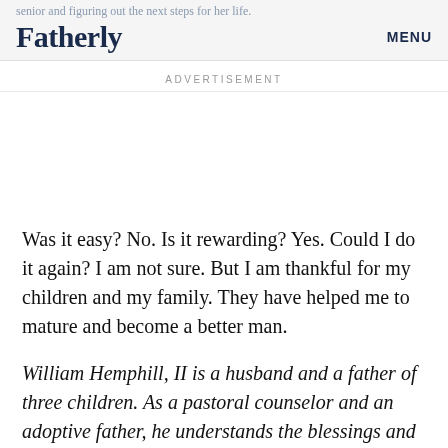senior and figuring out the next steps for her life.
Fatherly   MENU
ADVERTISEMENT
Was it easy? No. Is it rewarding? Yes. Could I do it again? I am not sure. But I am thankful for my children and my family. They have helped me to mature and become a better man.
William Hemphill, II is a husband and a father of three children. As a pastoral counselor and an adoptive father, he understands the blessings and